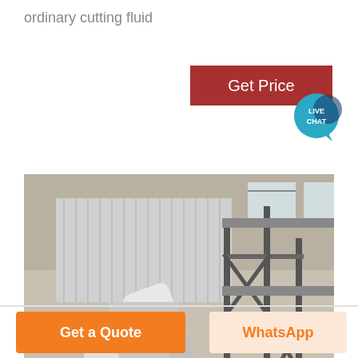ordinary cutting fluid
[Figure (photo): Industrial facility interior showing large milling/grinding machinery with white ductwork, hoppers, conveyor structures, and metal scaffolding in a warehouse-type building]
Get Price
[Figure (other): Live Chat speech bubble icon in teal/blue with 'LIVE CHAT' text]
Get a Quote
WhatsApp